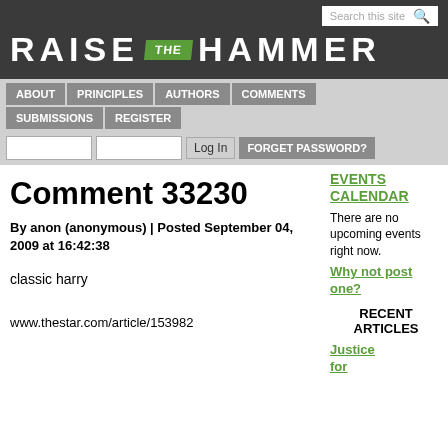RAISE THE HAMMER - Search this site
ABOUT | PRINCIPLES | AUTHORS | COMMENTS | SUBMISSIONS | REGISTER
Log In   FORGET PASSWORD?
Comment 33230
By anon (anonymous) | Posted September 04, 2009 at 16:42:38
classic harry
www.thestar.com/article/153982
EVENTS CALENDAR
There are no upcoming events right now.
Why not post one?
RECENT ARTICLES
Justice for